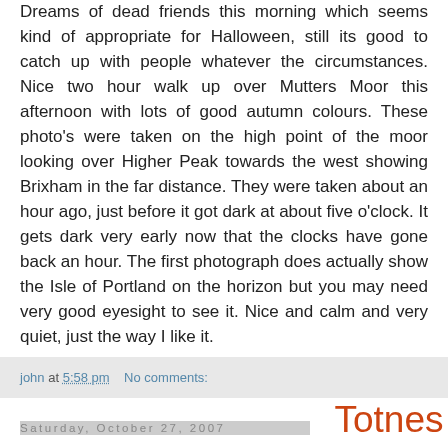Dreams of dead friends this morning which seems kind of appropriate for Halloween, still its good to catch up with people whatever the circumstances. Nice two hour walk up over Mutters Moor this afternoon with lots of good autumn colours. These photo's were taken on the high point of the moor looking over Higher Peak towards the west showing Brixham in the far distance. They were taken about an hour ago, just before it got dark at about five o'clock. It gets dark very early now that the clocks have gone back an hour. The first photograph does actually show the Isle of Portland on the horizon but you may need very good eyesight to see it. Nice and calm and very quiet, just the way I like it.
john at 5:58 pm    No comments:
Saturday, October 27, 2007
Totnes
[Figure (photo): Photograph of a building facade showing windows and architectural details, partially visible at bottom of page]